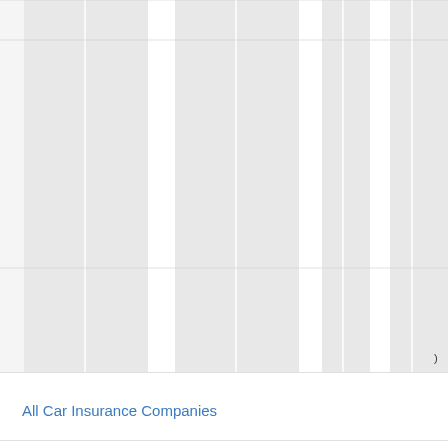[Figure (other): A grid/table chart area showing tall vertical gray column bars arranged in a repeating pattern with white gaps between them, spanning the upper portion of the page. The columns are arranged in groups suggesting a multi-column data table or bar chart. A small character ')' appears at the far right near the bottom of the chart area.]
All Car Insurance Companies